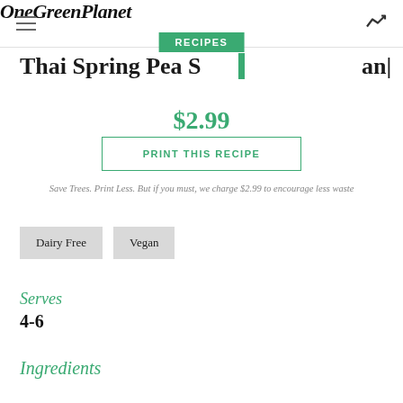OneGreenPlanet
Thai Spring Pea S... [Vegan]
$2.99
PRINT THIS RECIPE
Save Trees. Print Less. But if you must, we charge $2.99 to encourage less waste
Dairy Free
Vegan
Serves
4-6
Ingredients